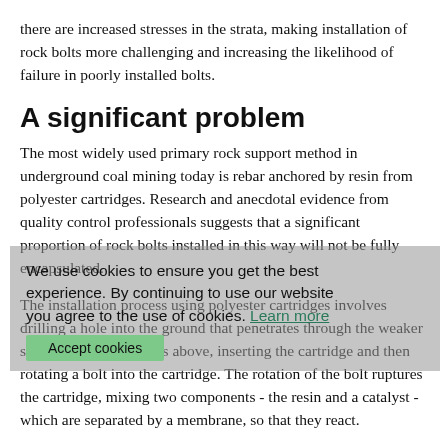there are increased stresses in the strata, making installation of rock bolts more challenging and increasing the likelihood of failure in poorly installed bolts.
A significant problem
The most widely used primary rock support method in underground coal mining today is rebar anchored by resin from polyester cartridges. Research and anecdotal evidence from quality control professionals suggests that a significant proportion of rock bolts installed in this way will not be fully encapsulated.
The installation process using polyester cartridges involves drilling a hole into the ground that penetrates through the weaker strata into stronger ones above, inserting the cartridge and then rotating a bolt into the cartridge. The rotation of the bolt ruptures the cartridge, mixing two components - the resin and a catalyst - which are separated by a membrane, so that they react.
A rock bolt's purpose is to limit movement of the ground; if the strata around the bolt moves, it resists the movement through shear action in the resin around the bolt. The goal is for the resin to be perfectly mixed, completely filling the gap between bolt and ground so that loads are distributed uniformly. However, there are several